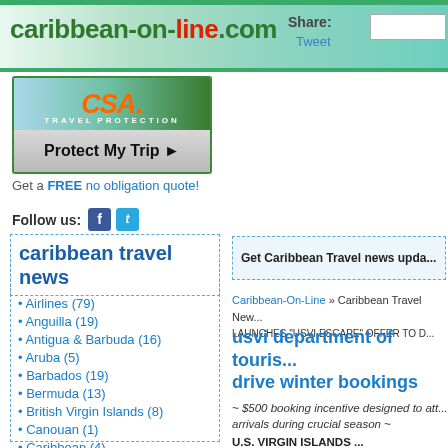caribbean-on-line.com | Share: Tweet
[Figure (logo): CSA Travel Protection ad with 'Protect My Trip' button]
Get a FREE no obligation quote!
Follow us: [Facebook icon] [Twitter icon]
caribbean travel news
• Airlines (79)
• Anguilla (19)
• Antigua & Barbuda (16)
• Aruba (5)
• Barbados (19)
• Bermuda (13)
• British Virgin Islands (8)
• Canouan (1)
• Caribbean (4)
Get Caribbean Travel news upda...
Caribbean-On-Line » Caribbean Travel New... LAUNCHES "USVI ESCAPE" OFFER TO D...
usvi department of touris... drive winter bookings
~ $500 booking incentive designed to att... arrivals during crucial season ~
U.S. VIRGIN ISLANDS - ...